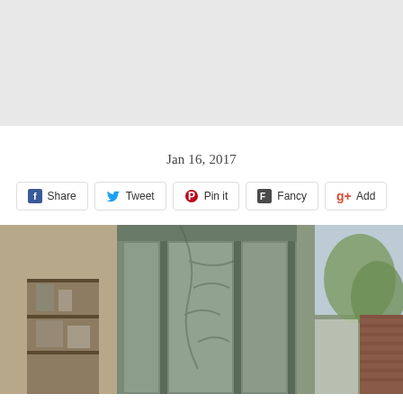[Figure (photo): Gray banner placeholder area at top of page]
Jan 16, 2017
[Figure (infographic): Social sharing buttons: Share (Facebook), Tweet (Twitter), Pin it (Pinterest), Fancy, Add (Google+)]
[Figure (photo): Interior room photo showing a green multi-panel glass door/window with tree shadows, a shelving unit with items on the left, and an exterior view with trees and brick on the right]